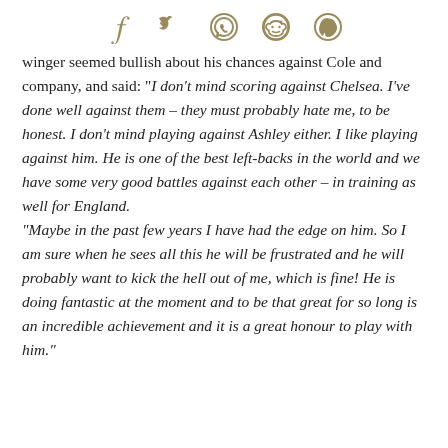[Figure (other): Social media sharing icons: Facebook, Twitter, WhatsApp, Reddit, Pinterest]
winger seemed bullish about his chances against Cole and company, and said: "I don't mind scoring against Chelsea. I've done well against them – they must probably hate me, to be honest. I don't mind playing against Ashley either. I like playing against him. He is one of the best left-backs in the world and we have some very good battles against each other – in training as well for England. "Maybe in the past few years I have had the edge on him. So I am sure when he sees all this he will be frustrated and he will probably want to kick the hell out of me, which is fine! He is doing fantastic at the moment and to be that great for so long is an incredible achievement and it is a great honour to play with him."